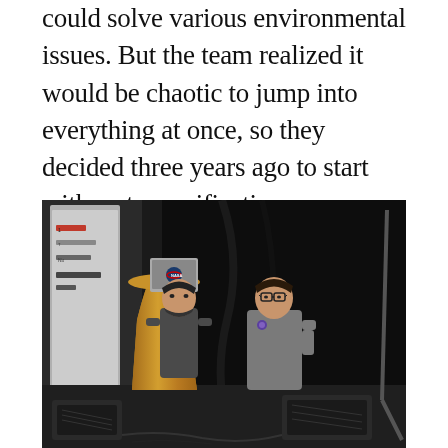could solve various environmental issues. But the team realized it would be chaotic to jump into everything at once, so they decided three years ago to start with water purification.
[Figure (photo): Two men standing on a stage at what appears to be a NASA event. One man stands at a wooden podium with a NASA logo laptop, and another man in a gray t-shirt stands beside him. There is a banner/roll-up display visible in the background on the left side of the stage.]